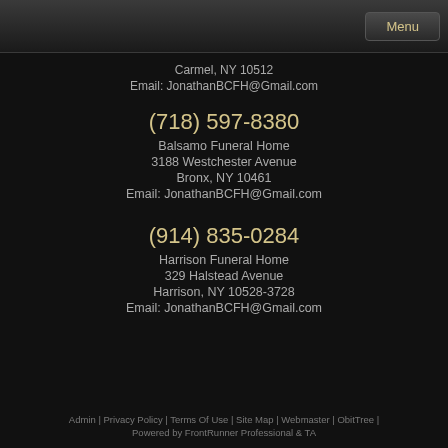Menu
Carmel, NY 10512
Email: JonathanBCFH@Gmail.com
(718) 597-8380
Balsamo Funeral Home
3188 Westchester Avenue
Bronx, NY 10461
Email: JonathanBCFH@Gmail.com
(914) 835-0284
Harrison Funeral Home
329 Halstead Avenue
Harrison, NY 10528-3728
Email: JonathanBCFH@Gmail.com
Admin | Privacy Policy | Terms Of Use | Site Map | Webmaster | ObitTree | Powered by FrontRunner Professional & TA